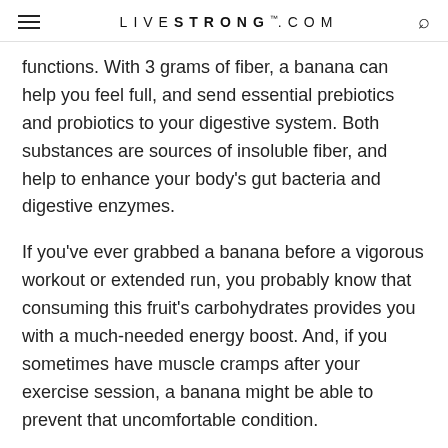LIVESTRONG.COM
functions. With 3 grams of fiber, a banana can help you feel full, and send essential prebiotics and probiotics to your digestive system. Both substances are sources of insoluble fiber, and help to enhance your body's gut bacteria and digestive enzymes.
If you've ever grabbed a banana before a vigorous workout or extended run, you probably know that consuming this fruit's carbohydrates provides you with a much-needed energy boost. And, if you sometimes have muscle cramps after your exercise session, a banana might be able to prevent that uncomfortable condition.
Read more: Top 10 Health Benefits of Bananas